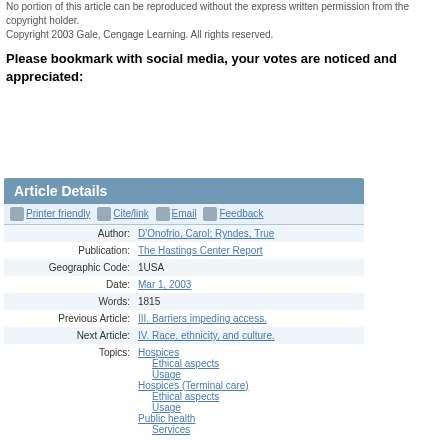No portion of this article can be reproduced without the express written permission from the copyright holder.
Copyright 2003 Gale, Cengage Learning. All rights reserved.
Please bookmark with social media, your votes are noticed and appreciated:
Article Details
| Field | Value |
| --- | --- |
| Author: | D'Onofrio, Carol; Ryndes, True |
| Publication: | The Hastings Center Report |
| Geographic Code: | 1USA |
| Date: | Mar 1, 2003 |
| Words: | 1815 |
| Previous Article: | III. Barriers impeding access. |
| Next Article: | IV. Race, ethnicity, and culture. |
| Topics: | Hospices
    Ethical aspects
    Usage
Hospices (Terminal care)
    Ethical aspects
    Usage
Public health
    Services |